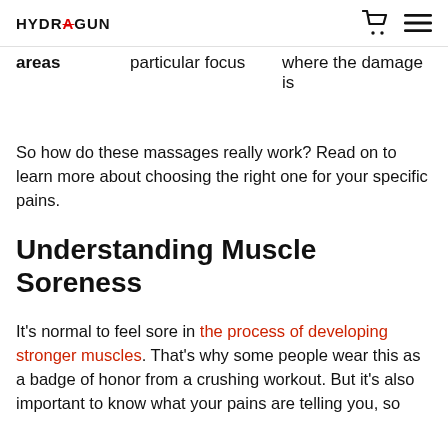HYDRAGUN
areas   particular focus   where the damage is
So how do these massages really work? Read on to learn more about choosing the right one for your specific pains.
Understanding Muscle Soreness
It's normal to feel sore in the process of developing stronger muscles. That's why some people wear this as a badge of honor from a crushing workout. But it's also important to know what your pains are telling you, so